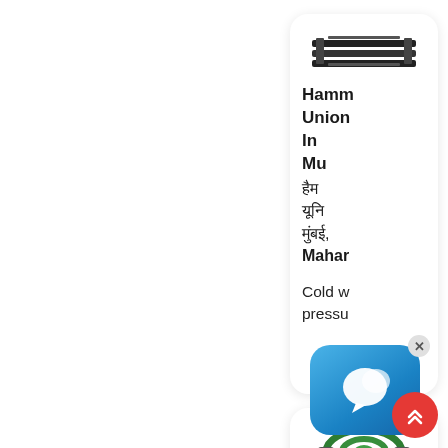[Figure (photo): Product card showing hammer union pipe fitting - dark metal bar-like product image at top, followed by text in English and Hindi describing Hammer Union In Mumbai]
Hammer Union In Mumbai
हैमर यूनियन मुंबई,
Mahar
Cold w pressu
[Figure (photo): Product card showing green garden hose coiled]
[Figure (screenshot): Chat popup overlay with blue messenger icon and X close button]
[Figure (other): Red circular scroll-to-top button with double chevron up arrows]